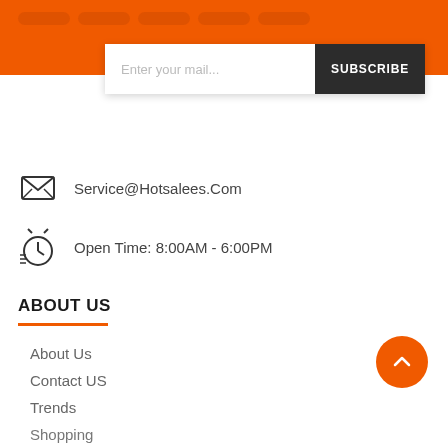[Figure (screenshot): Orange header bar with pill-shaped navigation buttons]
Enter your mail...
SUBSCRIBE
Service@Hotsalees.Com
Open Time: 8:00AM - 6:00PM
ABOUT US
About Us
Contact US
Trends
Shopping